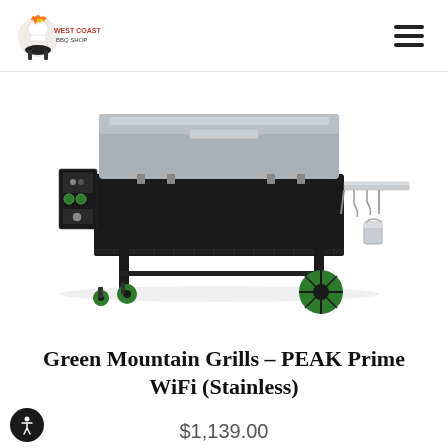West Coast BBQ Shop
[Figure (photo): Green Mountain Grills PEAK Prime WiFi (Stainless) pellet grill with black body, stainless steel lid, side shelf with utensil hooks and bucket, green wheels, and lower storage shelf, on white background.]
Green Mountain Grills – PEAK Prime WiFi (Stainless)
$1,139.00